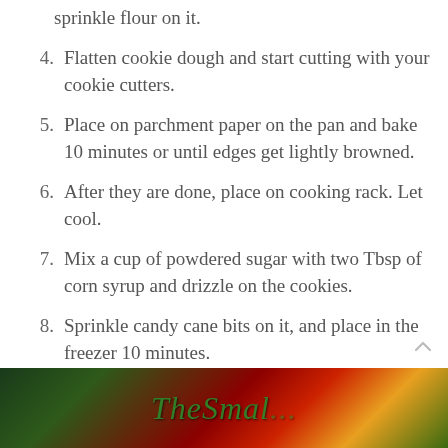sprinkle flour on it.
4. Flatten cookie dough and start cutting with your cookie cutters.
5. Place on parchment paper on the pan and bake 10 minutes or until edges get lightly browned.
6. After they are done, place on cooking rack. Let cool.
7. Mix a cup of powdered sugar with two Tbsp of corn syrup and drizzle on the cookies.
8. Sprinkle candy cane bits on it, and place in the freezer 10 minutes.
9. Bring out, package and head on to score your printables and go deliver!
[Figure (photo): Partial photo of a food/holiday scene with green and red colors and a cursive logo text 'TheSmal...' overlaid in green.]